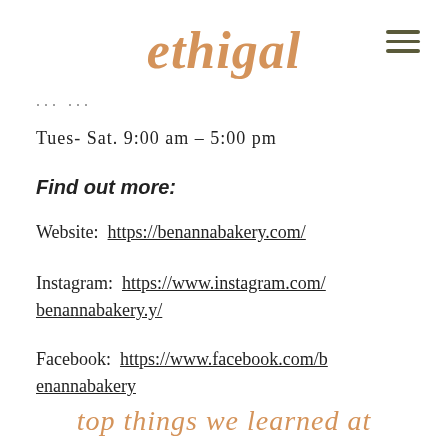ethigal
...
Tues- Sat. 9:00 am - 5:00 pm
Find out more:
Website: https://benannabakery.com/
Instagram: https://www.instagram.com/benannabakery.y/
Facebook: https://www.facebook.com/benannabakery
top things we learned at